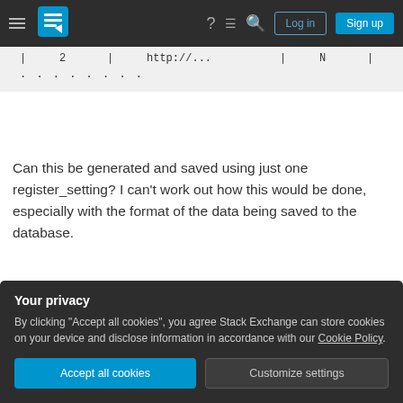Stack Exchange navigation bar with hamburger menu, logo, help, chat, search, Log in, Sign up
| | 2 | http://... | N | |
| ........ |
Can this be generated and saved using just one register_setting? I can't work out how this would be done, especially with the format of the data being saved to the database.
Thanks, Alex
plugin-development
settings-api
Your privacy
By clicking "Accept all cookies", you agree Stack Exchange can store cookies on your device and disclose information in accordance with our Cookie Policy.
Accept all cookies
Customize settings